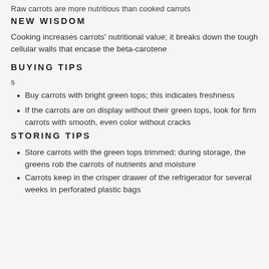Raw carrots are more nutritious than cooked carrots
NEW WISDOM
Cooking increases carrots' nutritional value; it breaks down the tough cellular walls that encase the beta-carotene
BUYING TIPS
s
Buy carrots with bright green tops; this indicates freshness
If the carrots are on display without their green tops, look for firm carrots with smooth, even color without cracks
STORING TIPS
Store carrots with the green tops trimmed; during storage, the greens rob the carrots of nutrients and moisture
Carrots keep in the crisper drawer of the refrigerator for several weeks in perforated plastic bags